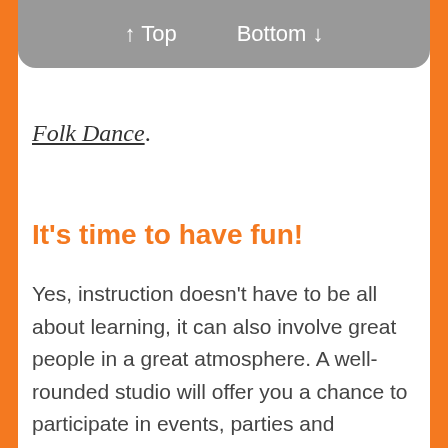↑ Top   Bottom ↓
Folk Dance.
It's time to have fun!
Yes, instruction doesn't have to be all about learning, it can also involve great people in a great atmosphere. A well-rounded studio will offer you a chance to participate in events, parties and competitions. Regardless of your dance goals, there is most likely a dance studio in your area that will